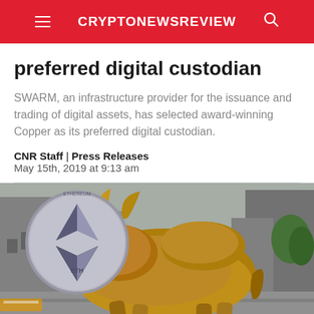CRYPTONEWSREVIEW
preferred digital custodian
SWARM, an infrastructure provider for the issuance and trading of digital assets, has selected award-winning Copper as its preferred digital custodian.
CNR Staff | Press Releases
May 15th, 2019 at 9:13 am
[Figure (photo): Composite image of the Charging Bull statue (Wall Street bronze bull) with an Ethereum coin overlaid in the upper left corner, set against an urban background.]